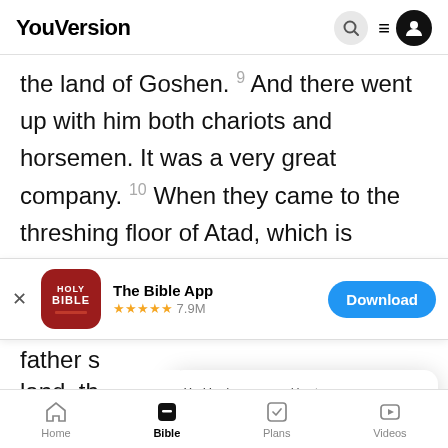YouVersion
the land of Goshen. 9 And there went up with him both chariots and horsemen. It was a very great company. 10 When they came to the threshing floor of Atad, which is beyond the Jordan, [footnote] they
[Figure (screenshot): App download banner for The Bible App with red Holy Bible icon, 5-star rating 7.9M, and blue Download button]
father s
land, th
threshing floor of Atad, they said, "This is a
YouVersion uses cookies to personalize your experience. By using our website, you accept our use of cookies as described in our Privacy Policy.
Home  Bible  Plans  Videos